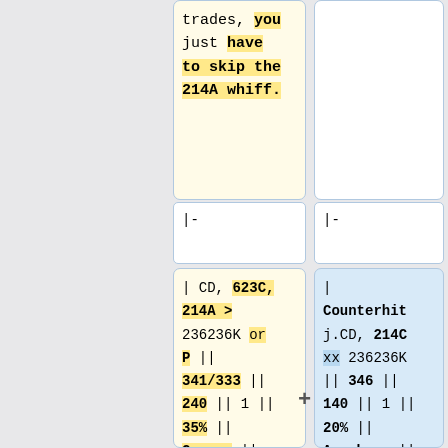trades, you just have to skip the 214A whiff.
|-
|-
| CD, 623C, 214A > 236236K or P || 341/333 || 240 || 1 || 35% || Corner || You can use 236236P to sacrifice damage for better okizeme. You can do this
| Counterhit j.CD, 214C xx 236236K || 346 || 140 || 1 || 20% || Anywhere ||